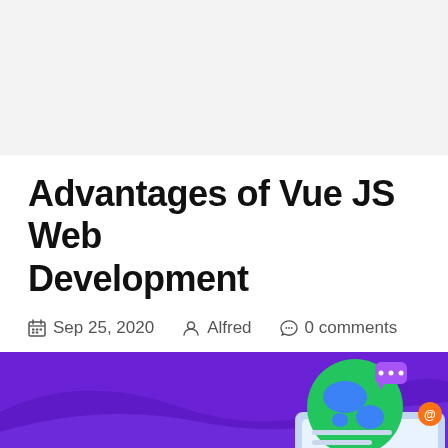Advantages of Vue JS Web Development
Sep 25, 2020   Alfred   0 comments
[Figure (illustration): Purple banner with decorative wave background, a globe/screen illustration with chat and email icons, and bold yellow text reading 'Advantages of']